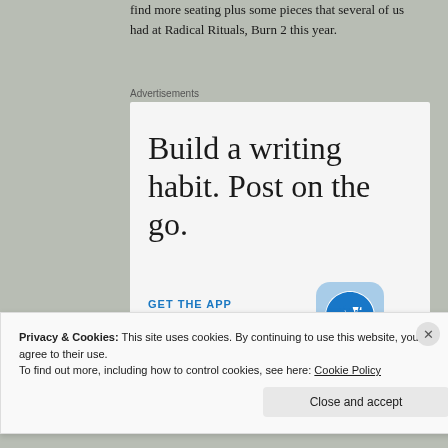find more seating plus some pieces that several of us had at Radical Rituals, Burn 2 this year.
Advertisements
[Figure (illustration): WordPress app advertisement: 'Build a writing habit. Post on the go.' with GET THE APP call-to-action and WordPress logo icon]
Privacy & Cookies: This site uses cookies. By continuing to use this website, you agree to their use.
To find out more, including how to control cookies, see here: Cookie Policy
Close and accept